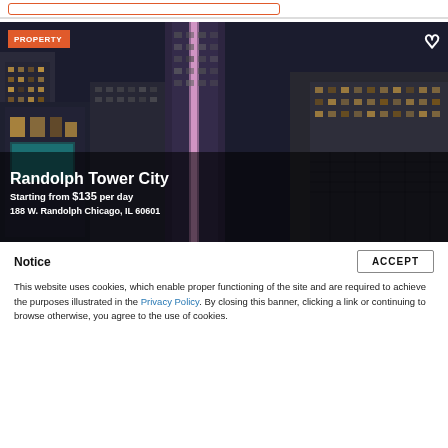[Figure (screenshot): Search input field with orange/red border at the top of the page]
[Figure (photo): Nighttime aerial photo of Chicago skyscrapers including Randolph Tower City, with city lights illuminated. Shows dense urban architecture at night.]
Randolph Tower City
Starting from $135 per day
188 W. Randolph Chicago, IL 60601
Notice
This website uses cookies, which enable proper functioning of the site and are required to achieve the purposes illustrated in the Privacy Policy. By closing this banner, clicking a link or continuing to browse otherwise, you agree to the use of cookies.